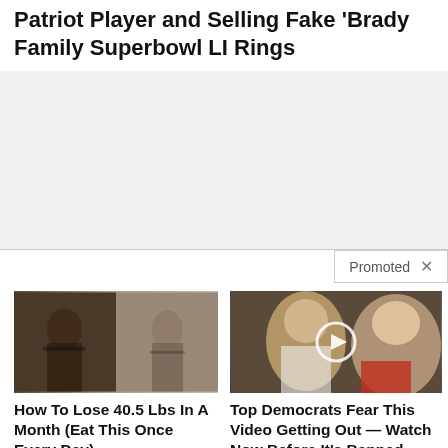Patriot Player and Selling Fake 'Brady Family Superbowl LI Rings
[Figure (other): Gray empty content area placeholder]
Promoted X
[Figure (photo): Before and after weight loss photo showing two women in black bras from behind]
How To Lose 40.5 Lbs In A Month (Eat This Once Every Day)
18,968
[Figure (photo): Photo of Melania and Donald Trump with a video play button overlay]
Top Democrats Fear This Video Getting Out — Watch Now Before It's Banned
299,116